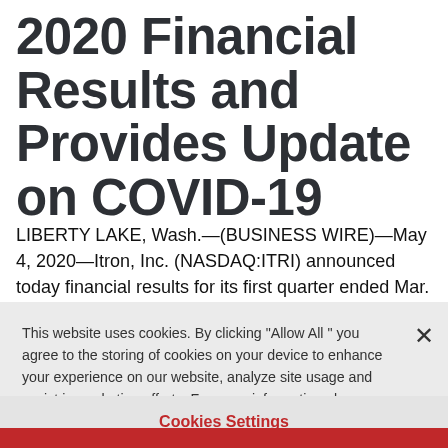2020 Financial Results and Provides Update on COVID-19
LIBERTY LAKE, Wash.—(BUSINESS WIRE)—May 4, 2020—Itron, Inc. (NASDAQ:ITRI) announced today financial results for its first quarter ended Mar. 31, 2020. Key results for the quarter include
This website uses cookies. By clicking "Allow All" you agree to the storing of cookies on your device to enhance your experience on our website, analyze site usage and assist in marketing efforts. For more information please see the cookie notice.
Cookies Settings